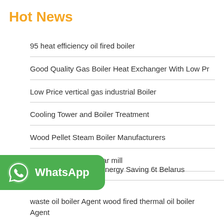Hot News
95 heat efficiency oil fired boiler
Good Quality Gas Boiler Heat Exchanger With Low Pr
Low Price vertical gas industrial Boiler
Cooling Tower and Boiler Treatment
Wood Pellet Steam Boiler Manufacturers
oil steam boiler in sugar mill
[Figure (logo): WhatsApp logo button — green rounded rectangle with phone icon and 'WhatsApp' text in white]
Energy Saving 6t Belarus
waste oil boiler Agent wood fired thermal oil boiler Agent